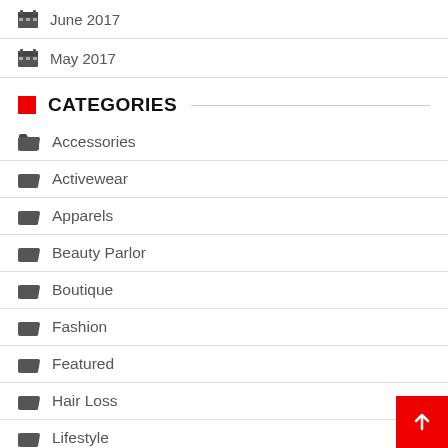June 2017
May 2017
CATEGORIES
Accessories
Activewear
Apparels
Beauty Parlor
Boutique
Fashion
Featured
Hair Loss
Lifestyle